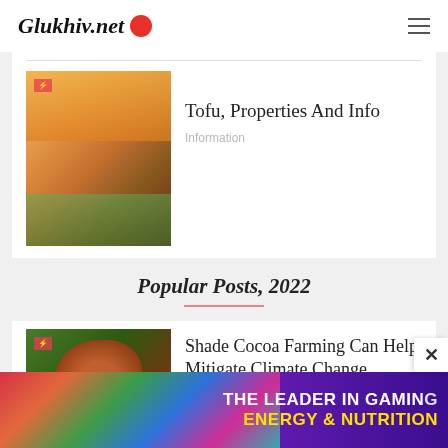Glukhiv.net
[Figure (photo): Thumbnail image of tofu products stacked on a market stall with colorful packaging]
Tofu, Properties And Info
Information
Popular Posts, 2022
[Figure (photo): Thumbnail image of cocoa plants growing under shade in a tropical farm setting]
Shade Cocoa Farming Can Help Mitigate Climate Change
[Figure (screenshot): Advertisement banner: THE LEADER IN GAMING ENERGY & NUTRITION with colorful energy drink cans]